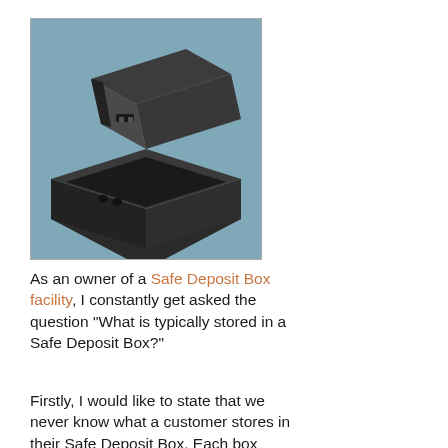[Figure (photo): A 3D rendered image of a black safe deposit box with its lid open, showing the tray inside, set against a blue-grey background.]
As an owner of a Safe Deposit Box facility, I constantly get asked the question “What is typically stored in a Safe Deposit Box?”
Firstly, I would like to state that we never know what a customer stores in their Safe Deposit Box. Each box contains a tray similar to the image